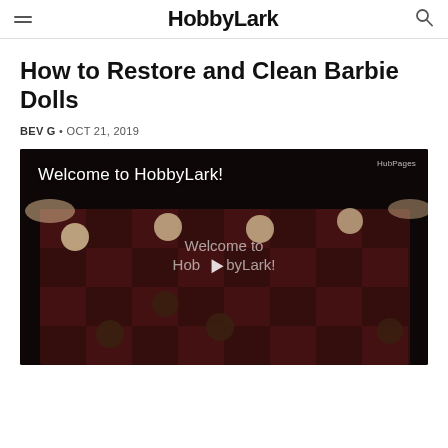HobbyLark
How to Restore and Clean Barbie Dolls
BEV G • OCT 21, 2019
[Figure (screenshot): Video player thumbnail showing a checkers board game with overlaid text 'Welcome to HobbyLark!' and a play button in the center. HubPages watermark in top-right corner.]